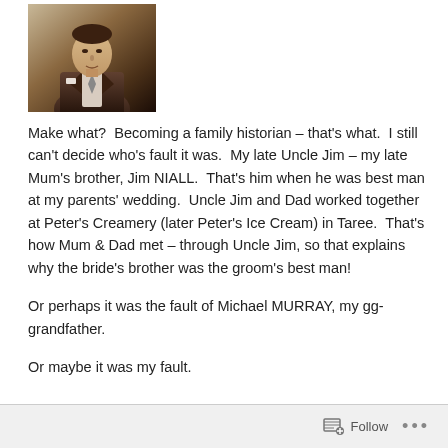[Figure (photo): Sepia-toned photograph of a man in a suit, cropped at the top of the page]
Make what?  Becoming a family historian – that's what.  I still can't decide who's fault it was.  My late Uncle Jim – my late Mum's brother, Jim NIALL.  That's him when he was best man at my parents' wedding.  Uncle Jim and Dad worked together at Peter's Creamery (later Peter's Ice Cream) in Taree.  That's how Mum & Dad met – through Uncle Jim, so that explains why the bride's brother was the groom's best man!
Or perhaps it was the fault of Michael MURRAY, my gg-grandfather.
Or maybe it was my fault.
Follow  ...